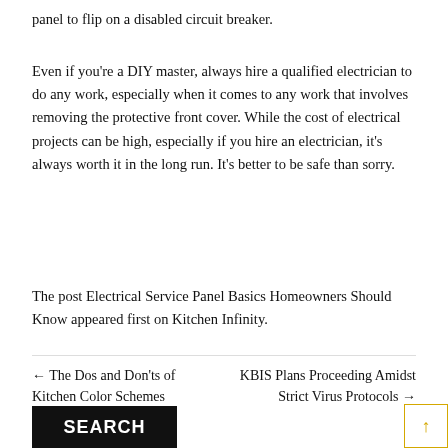panel to flip on a disabled circuit breaker.
Even if you're a DIY master, always hire a qualified electrician to do any work, especially when it comes to any work that involves removing the protective front cover. While the cost of electrical projects can be high, especially if you hire an electrician, it's always worth it in the long run. It's better to be safe than sorry.
The post Electrical Service Panel Basics Homeowners Should Know appeared first on Kitchen Infinity.
← The Dos and Don'ts of Kitchen Color Schemes
KBIS Plans Proceeding Amidst Strict Virus Protocols →
SEARCH